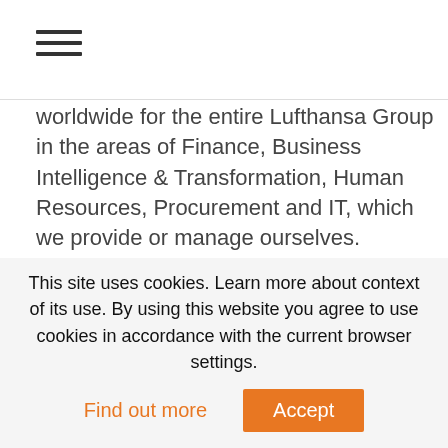[hamburger menu icon]
worldwide for the entire Lufthansa Group in the areas of Finance, Business Intelligence & Transformation, Human Resources, Procurement and IT, which we provide or manage ourselves.

It’s our goal to harmonize and standardize processes and to continuously make them more efficient and effective. We see ourselves as pioneers in digitization, as well as in the use and distribution of the latest
This site uses cookies. Learn more about context of its use. By using this website you agree to use cookies in accordance with the current browser settings.
Find out more
Accept